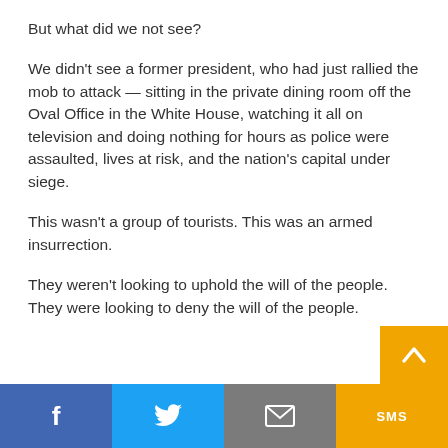But what did we not see?
We didn't see a former president, who had just rallied the mob to attack — sitting in the private dining room off the Oval Office in the White House, watching it all on television and doing nothing for hours as police were assaulted, lives at risk, and the nation's capital under siege.
This wasn't a group of tourists. This was an armed insurrection.
They weren't looking to uphold the will of the people. They were looking to deny the will of the people.
f  [Twitter bird]  [Envelope]  SMS